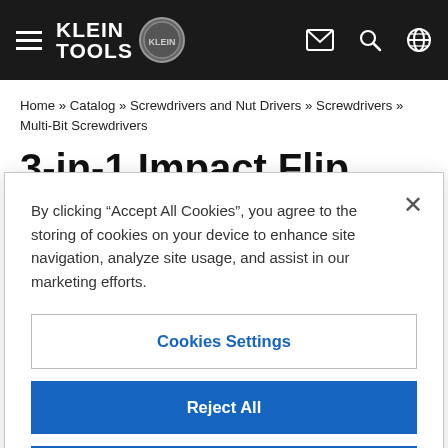Klein Tools navigation bar with hamburger menu, logo, email icon, search icon, globe icon
Home » Catalog » Screwdrivers and Nut Drivers » Screwdrivers » Multi-Bit Screwdrivers
3-in-1 Impact Flip Socket, 1/4-Inch,
By clicking "Accept All Cookies", you agree to the storing of cookies on your device to enhance site navigation, analyze site usage, and assist in our marketing efforts.
Cookies Settings
Reject All
Accept All Cookies